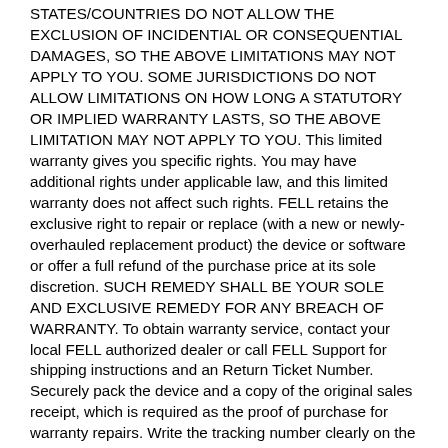STATES/COUNTRIES DO NOT ALLOW THE EXCLUSION OF INCIDENTIAL OR CONSEQUENTIAL DAMAGES, SO THE ABOVE LIMITATIONS MAY NOT APPLY TO YOU. SOME JURISDICTIONS DO NOT ALLOW LIMITATIONS ON HOW LONG A STATUTORY OR IMPLIED WARRANTY LASTS, SO THE ABOVE LIMITATION MAY NOT APPLY TO YOU. This limited warranty gives you specific rights. You may have additional rights under applicable law, and this limited warranty does not affect such rights. FELL retains the exclusive right to repair or replace (with a new or newly-overhauled replacement product) the device or software or offer a full refund of the purchase price at its sole discretion. SUCH REMEDY SHALL BE YOUR SOLE AND EXCLUSIVE REMEDY FOR ANY BREACH OF WARRANTY. To obtain warranty service, contact your local FELL authorized dealer or call FELL Support for shipping instructions and an Return Ticket Number. Securely pack the device and a copy of the original sales receipt, which is required as the proof of purchase for warranty repairs. Write the tracking number clearly on the outside of the package. Send the device, freight charges prepaid, to your nearest FELL address. See www.fellmarine.com to find your nearest address for return or contact your local FELL dealer. ONLINE AUCTION PURCHASES: Products purchased through online auctions are not eligible for rebates or other special offers from FELL warranty coverage. Online auction confirmations are not accepted for warranty verification. To obtain warranty service, an original or copy